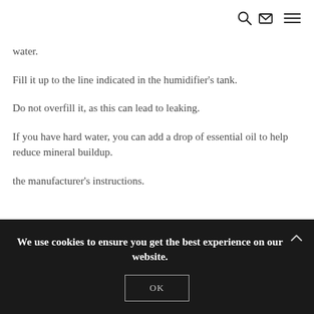[navigation icons: search, mail, menu]
water.
Fill it up to the line indicated in the humidifier's tank.
Do not overfill it, as this can lead to leaking.
If you have hard water, you can add a drop of essential oil to help reduce mineral buildup.
the manufacturer's instructions.
If you don't clean it, mold and bacteria can grow in the tank.
We use cookies to ensure you get the best experience on our website.
OK